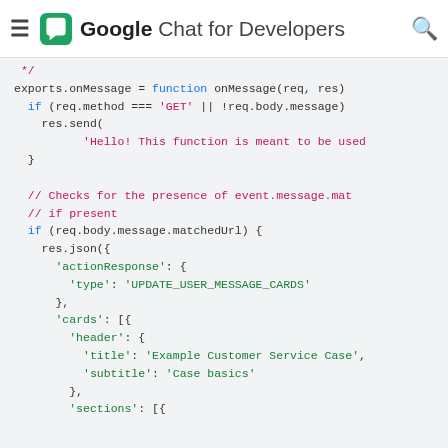Google Chat for Developers
[Figure (screenshot): Code snippet showing JavaScript Cloud Function for Google Chat. Shows exports.onMessage function with GET request check, res.send with hello message, comment about checking event.message.matchedUrl, if block checking req.body.message.matchedUrl, and res.json response with actionResponse type UPDATE_USER_MESSAGE_CARDS, cards array with header containing title 'Example Customer Service Case', subtitle 'Case basics', and sections array.]